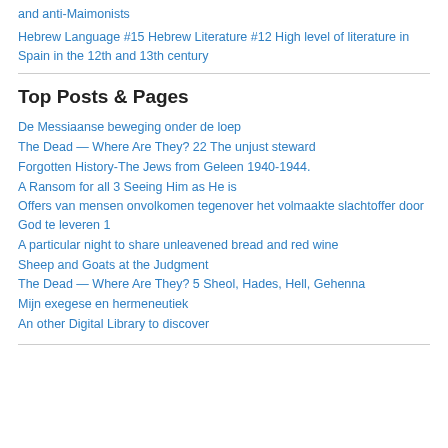and anti-Maimonists
Hebrew Language #15 Hebrew Literature #12 High level of literature in Spain in the 12th and 13th century
Top Posts & Pages
De Messiaanse beweging onder de loep
The Dead — Where Are They? 22 The unjust steward
Forgotten History-The Jews from Geleen 1940-1944.
A Ransom for all 3 Seeing Him as He is
Offers van mensen onvolkomen tegenover het volmaakte slachtoffer door God te leveren 1
A particular night to share unleavened bread and red wine
Sheep and Goats at the Judgment
The Dead — Where Are They? 5 Sheol, Hades, Hell, Gehenna
Mijn exegese en hermeneutiek
An other Digital Library to discover